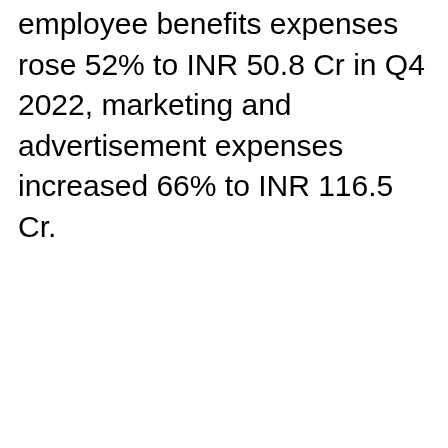employee benefits expenses rose 52% to INR 50.8 Cr in Q4 2022, marketing and advertisement expenses increased 66% to INR 116.5 Cr.